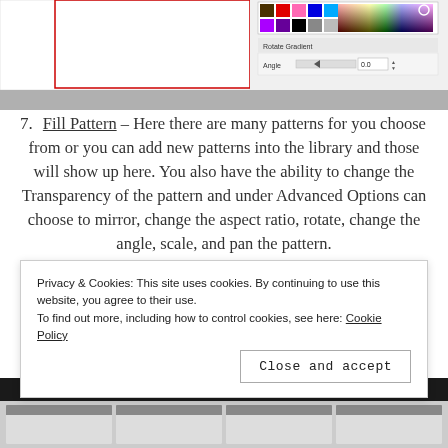[Figure (screenshot): Screenshot of a graphics software dialog showing a color palette and gradient rotate options with Angle field showing 0.0]
Fill Pattern – Here there are many patterns for you choose from or you can add new patterns into the library and those will show up here. You also have the ability to change the Transparency of the pattern and under Advanced Options can choose to mirror, change the aspect ratio, rotate, change the angle, scale, and pan the pattern.
[Figure (screenshot): Bottom strip showing dark header bar of software interface with thumbnail previews of panels below]
Privacy & Cookies: This site uses cookies. By continuing to use this website, you agree to their use.
To find out more, including how to control cookies, see here: Cookie Policy
Close and accept